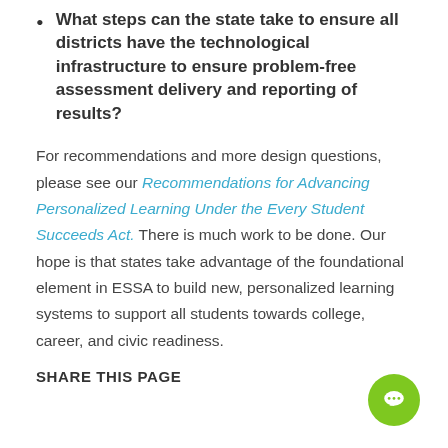What steps can the state take to ensure all districts have the technological infrastructure to ensure problem-free assessment delivery and reporting of results?
For recommendations and more design questions, please see our Recommendations for Advancing Personalized Learning Under the Every Student Succeeds Act. There is much work to be done. Our hope is that states take advantage of the foundational element in ESSA to build new, personalized learning systems to support all students towards college, career, and civic readiness.
SHARE THIS PAGE